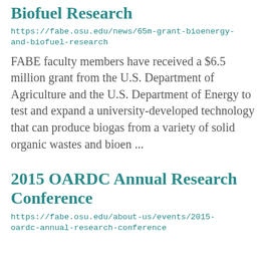Biofuel Research
https://fabe.osu.edu/news/65m-grant-bioenergy-and-biofuel-research
FABE faculty members have received a $6.5 million grant from the U.S. Department of Agriculture and the U.S. Department of Energy to test and expand a university-developed technology that can produce biogas from a variety of solid organic wastes and bioen ...
2015 OARDC Annual Research Conference
https://fabe.osu.edu/about-us/events/2015-oardc-annual-research-conference